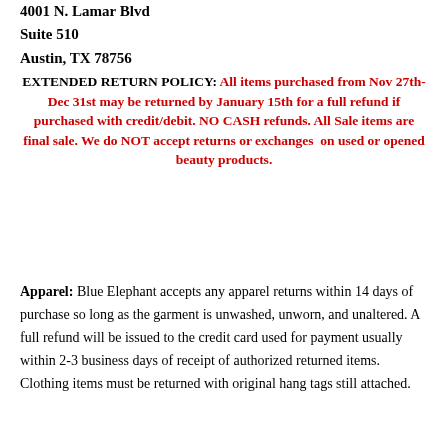4001 N. Lamar Blvd
Suite 510
Austin, TX 78756
EXTENDED RETURN POLICY: All items purchased from Nov 27th-Dec 31st may be returned by January 15th for a full refund if purchased with credit/debit. NO CASH refunds. All Sale items are final sale. We do NOT accept returns or exchanges on used or opened beauty products.
Apparel: Blue Elephant accepts any apparel returns within 14 days of purchase so long as the garment is unwashed, unworn, and unaltered. A full refund will be issued to the credit card used for payment usually within 2-3 business days of receipt of authorized returned items. Clothing items must be returned with original hang tags still attached.